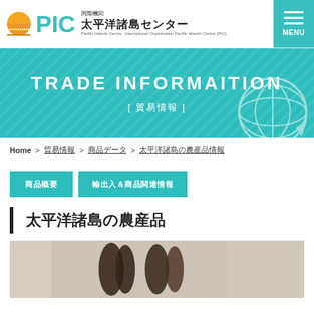国際機関 太平洋諸島センター International Organisation Pacific Islands Centre (PIC) | MENU
[Figure (logo): PIC Pacific Islands Centre logo with orange sun graphic and teal PIC text]
TRADE INFORMAITION
[ 貿易情報 ]
Home > 貿易情報 > 商品データ > 太平洋諸島の農産品情報
商品概要
輸出入＆商品関連情報
太平洋諸島の農産品
[Figure (photo): Close-up photo of dark woven/braided handicraft items on light background]